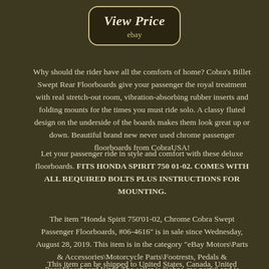[Figure (other): View Price button with ebay label, dark background with rounded rectangle border]
Why should the rider have all the comforts of home? Cobra's Billet Swept Rear Floorboards give your passenger the royal treatment with real stretch-out room, vibration-absorbing rubber inserts and folding mounts for the times you must ride solo. A classy fluted design on the underside of the boards makes them look great up or down. Beautiful brand new never used chrome passenger floorboards from CobraUSA!
Let your passenger ride in style and comfort with these deluxe floorboards. FITS HONDA SPIRIT 750 01-02. COMES WITH ALL REQUIRED BOLTS PLUS INSTRUCTIONS FOR MOUNTING.
The item "Honda Spirit 750'01-02, Chrome Cobra Swept Passenger Floorboards, #06-4616" is in sale since Wednesday, August 28, 2019. This item is in the category "eBay Motors\Parts & Accessories\Motorcycle Parts\Footrests, Pedals & Pegs\Floorboard Kits". The seller is "johns-mc-parts" and is located in Niagara Falls, New York.
This item can be shipped to United States, Canada, United